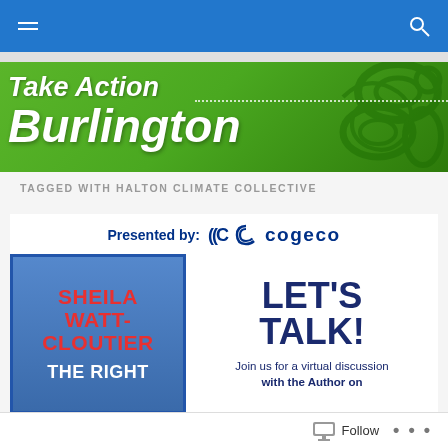Navigation bar with hamburger menu and search icon
[Figure (illustration): Take Action Burlington green banner with white bold italic text and decorative swirl pattern on right side]
TAGGED WITH HALTON CLIMATE COLLECTIVE
[Figure (illustration): Presented by Cogeco logo advertisement. Left panel: blue book cover for Sheila Watt-Cloutier 'THE RIGHT' in red and white text. Right panel: white background with 'LET'S TALK!' in large dark blue bold text and 'Join us for a virtual discussion with the Author on' text below.]
Follow